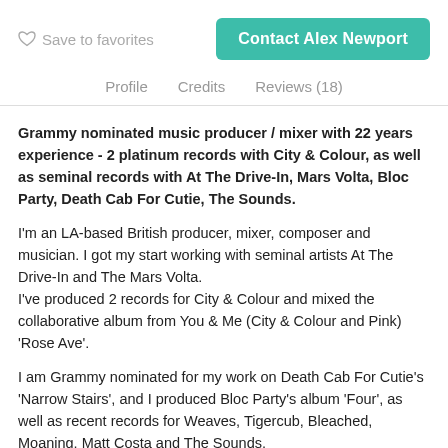Save to favorites
Contact Alex Newport
Profile   Credits   Reviews (18)
Grammy nominated music producer / mixer with 22 years experience - 2 platinum records with City & Colour, as well as seminal records with At The Drive-In, Mars Volta, Bloc Party, Death Cab For Cutie, The Sounds.
I'm an LA-based British producer, mixer, composer and musician. I got my start working with seminal artists At The Drive-In and The Mars Volta.
I've produced 2 records for City & Colour and mixed the collaborative album from You & Me (City & Colour and Pink) 'Rose Ave'.
I am Grammy nominated for my work on Death Cab For Cutie's 'Narrow Stairs', and I produced Bloc Party's album 'Four', as well as recent records for Weaves, Tigercub, Bleached, Moaning, Matt Costa and The Sounds.
I specialize in pop and indie rock, but I'm open to all genres. I grew